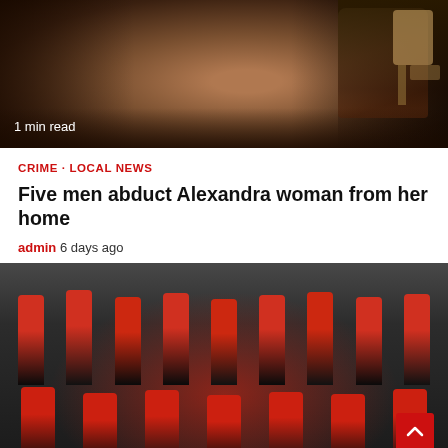[Figure (photo): Close-up portrait photo of a young woman smiling, with dark background. '1 min read' text overlay in white at bottom left.]
CRIME · LOCAL NEWS
Five men abduct Alexandra woman from her home
admin  6 days ago
[Figure (photo): Group photo of approximately 16 people wearing matching red and black track jackets and red caps, posed in two rows against a dark background with a logo. A red scroll-to-top button is visible in the bottom right corner.]